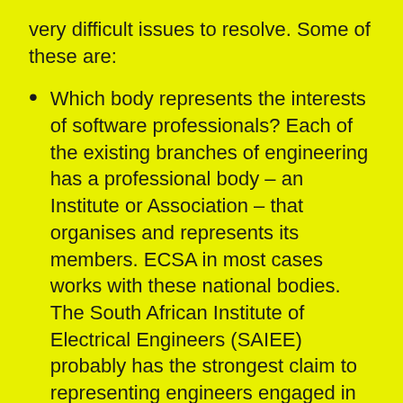very difficult issues to resolve. Some of these are:
Which body represents the interests of software professionals? Each of the existing branches of engineering has a professional body – an Institute or Association – that organises and represents its members. ECSA in most cases works with these national bodies. The South African Institute of Electrical Engineers (SAIEE) probably has the strongest claim to representing engineers engaged in “software engineering”. But there are other bodies, such as the Computer Society of South Africa (CSSA) that may claim “representation rights”. Should a new Institute be established?
What would the accredited education of a